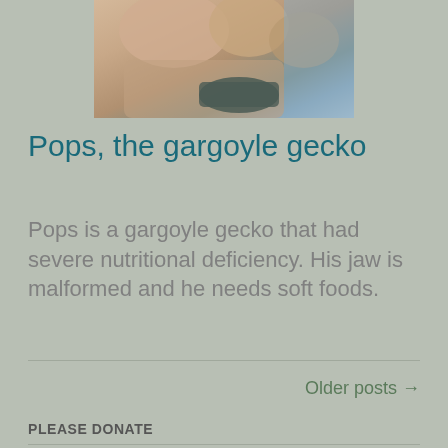[Figure (photo): Close-up photo of a hand holding something small, partially cropped at the top of the page]
Pops, the gargoyle gecko
Pops is a gargoyle gecko that had severe nutritional deficiency. His jaw is malformed and he needs soft foods.
Older posts →
PLEASE DONATE